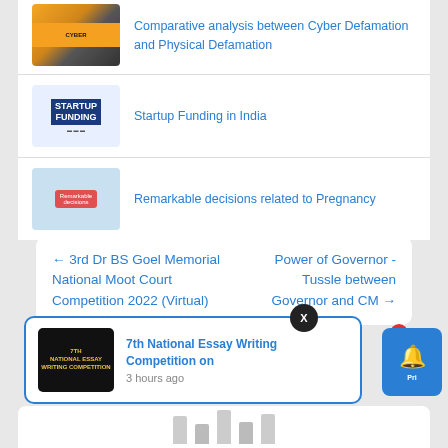[Figure (screenshot): Thumbnail image for Cyber Defamation article]
Comparative analysis between Cyber Defamation and Physical Defamation
[Figure (screenshot): Thumbnail image showing Startup Funding text]
Startup Funding in India
[Figure (screenshot): Thumbnail image for Pregnancy decisions article]
Remarkable decisions related to Pregnancy
← 3rd Dr BS Goel Memorial National Moot Court Competition 2022 (Virtual)
Power of Governor -Tussle between Governor and CM →
[Figure (screenshot): Thumbnail for 7th National Essay Writing Competition]
7th National Essay Writing Competition on
3 hours ago